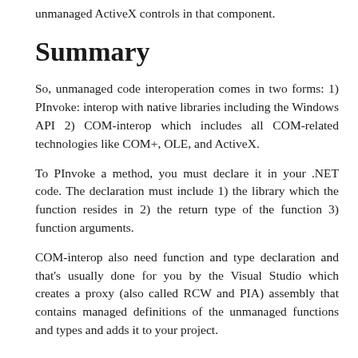unmanaged ActiveX controls in that component.
Summary
So, unmanaged code interoperation comes in two forms: 1) PInvoke: interop with native libraries including the Windows API 2) COM-interop which includes all COM-related technologies like COM+, OLE, and ActiveX.
To PInvoke a method, you must declare it in your .NET code. The declaration must include 1) the library which the function resides in 2) the return type of the function 3) function arguments.
COM-interop also need function and type declaration and that's usually done for you by the Visual Studio which creates a proxy (also called RCW and PIA) assembly that contains managed definitions of the unmanaged functions and types and adds it to your project.